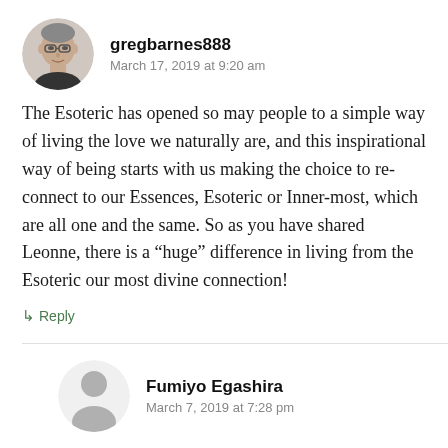[Figure (photo): Circular avatar photo of a middle-aged man with glasses, grey hair, wearing a dark top]
gregbarnes888
March 17, 2019 at 9:20 am
The Esoteric has opened so may people to a simple way of living the love we naturally are, and this inspirational way of being starts with us making the choice to re-connect to our Essences, Esoteric or Inner-most, which are all one and the same. So as you have shared Leonne, there is a “huge” difference in living from the Esoteric our most divine connection!
↳ Reply
[Figure (illustration): Circular grey silhouette avatar placeholder for Fumiyo Egashira]
Fumiyo Egashira
March 7, 2019 at 7:28 pm